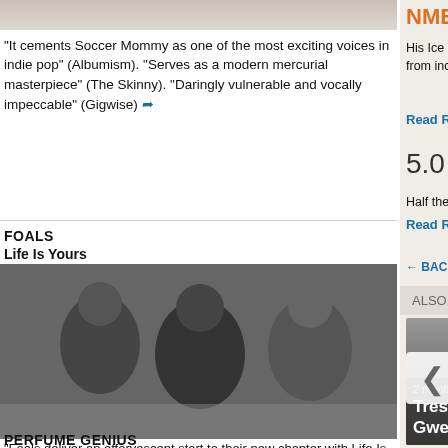[Figure (photo): Partial photo of a person at the top of the left column]
"It cements Soccer Mommy as one of the most exciting voices in indie pop" (Albumism). "Serves as a modern mercurial masterpiece" (The Skinny). "Daringly vulnerable and vocally impeccable" (Gigwise) ➦
FOALS
Life Is Yours
[Figure (photo): Black and white photo of three members of the band Foals]
"Foals deliver an effervescent start to their new chapter with Life Is Yours" (The Line Of best Fit). "A superb antidote to the gloominess of the world we've all been facing" (The Skinny) ➦
PERFUME GENIUS
His Ice Cube-style beats, aggro beats from inc…, gut punch of reveale…
Read Review
5.0 | NME
Half the album's a g…
Read Review
← BACK TO MAIN CHA…
ALSO ON ANY DECENT MUSIC
2 months ago • 1 comment
Tresor by Gwenno reviews
9 days
No … by S… revi…